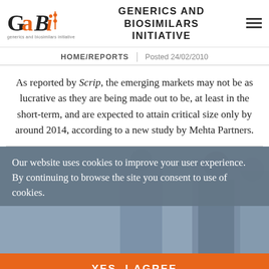GENERICS AND BIOSIMILARS INITIATIVE
HOME/REPORTS | Posted 24/02/2010
As reported by Scrip, the emerging markets may not be as lucrative as they are being made out to be, at least in the short-term, and are expected to attain critical size only by around 2014, according to a new study by Mehta Partners.
[Figure (photo): Photo of people in a lab/business setting, partially obscured by cookie consent overlay]
Our website uses cookies to improve your user experience. By continuing to browse the site you consent to use of cookies.
YES, I AGREE